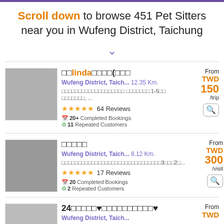Scroll down to browse 451 Pet Sitters near you in Wufeng District, Taichung
linda — Wufeng District, Taich... 12.35 Km. — 64 Reviews — 20+ Completed Bookings — 11 Repeated Customers — From TWD 150 /trip
— Wufeng District, Taich... 8.12 Km. — 17 Reviews — 20 Completed Bookings — 2 Repeated Customers — From TWD 300 /visit
24♥♥ — Wufeng District, Taich... — From TWD